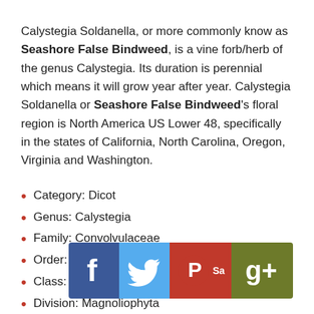Calystegia Soldanella, or more commonly know as Seashore False Bindweed, is a vine forb/herb of the genus Calystegia. Its duration is perennial which means it will grow year after year. Calystegia Soldanella or Seashore False Bindweed's floral region is North America US Lower 48, specifically in the states of California, North Carolina, Oregon, Virginia and Washington.
Category: Dicot
Genus: Calystegia
Family: Convolvulaceae
Order: Solanales
Class: Magnoliopsida
Division: Magnoliophyta
Duration: Perennial
Growth Habit: Vi